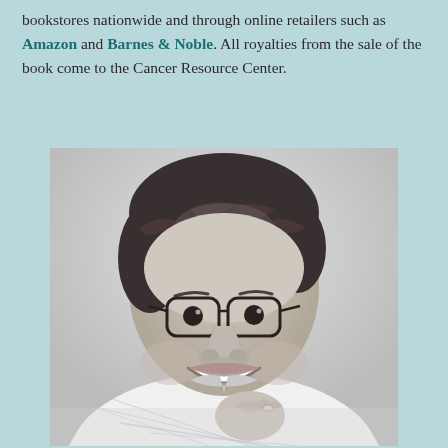bookstores nationwide and through online retailers such as Amazon and Barnes & Noble. All royalties from the sale of the book come to the Cancer Resource Center.
[Figure (photo): Black and white portrait photograph of a middle-aged man with glasses and dark curly hair, wearing a light plaid button-up shirt, smiling broadly with his chin resting on his hand.]